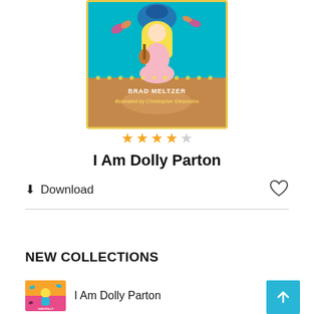[Figure (illustration): Book cover for 'I Am Dolly Parton' by Brad Meltzer, illustrated by Christopher Eliopoulos. Cartoon Dolly Parton playing guitar on a teal stage with butterflies.]
[Figure (other): Star rating: 4 out of 5 orange stars]
I Am Dolly Parton
Download
[Figure (other): Heart/favorite icon (outline)]
NEW COLLECTIONS
[Figure (illustration): Small book cover thumbnail for I Am Dolly Parton, showing cartoon blonde girl with guitar on colorful background]
I Am Dolly Parton